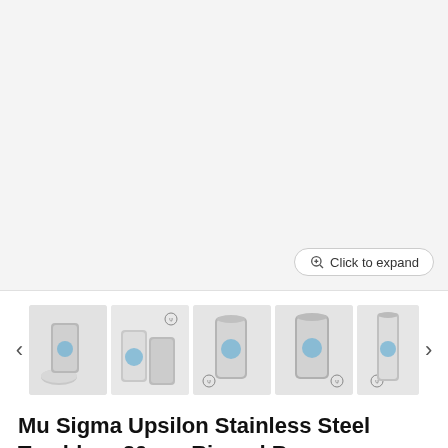[Figure (photo): Main product image area showing white stainless steel tumbler on light gray background with 'Click to expand' button in bottom right corner]
[Figure (photo): Thumbnail carousel showing 5 product images of the Mu Sigma Upsilon Stainless Steel Tumbler from various angles, with left and right navigation arrows]
Mu Sigma Upsilon Stainless Steel Tumbler - 20oz - Ringed Base